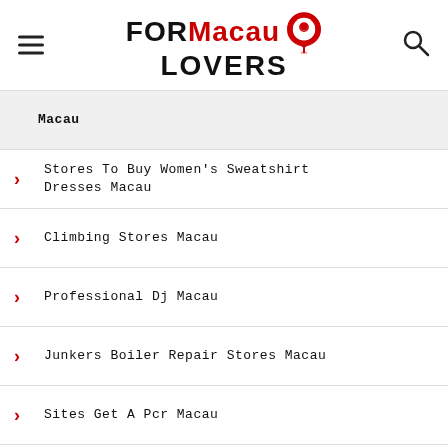[Figure (logo): FOR Macau LOVERS logo with red map pin icon and hamburger menu and search icon]
Macau
Stores To Buy Women's Sweatshirt Dresses Macau
Climbing Stores Macau
Professional Dj Macau
Junkers Boiler Repair Stores Macau
Sites Get A Pcr Macau
Urology Clinics Macau
Places To Buy Cameras Macau
Vegan Supermarkets Macau
Kitchen Manufacturers Macau
Stores To Buy Men's Trench Coats Macau